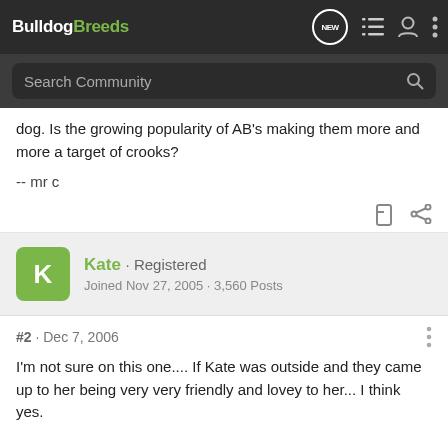BulldogBreeds
Search Community
dog. Is the growing popularity of AB's making them more and more a target of crooks?

-- mr c
Kate · Registered
Joined Nov 27, 2005 · 3,560 Posts
#2 · Dec 7, 2006
I'm not sure on this one.... If Kate was outside and they came up to her being very very friendly and lovey to her... I think yes.